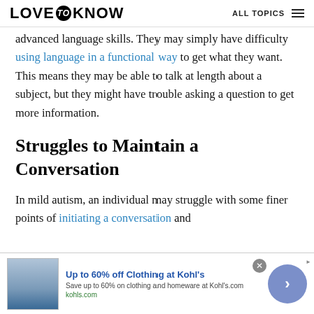LOVE to KNOW  ALL TOPICS
advanced language skills. They may simply have difficulty using language in a functional way to get what they want. This means they may be able to talk at length about a subject, but they might have trouble asking a question to get more information.
Struggles to Maintain a Conversation
In mild autism, an individual may struggle with some finer points of initiating a conversation and
[Figure (screenshot): Advertisement banner for Kohl's: 'Up to 60% off Clothing at Kohl's. Save up to 60% on clothing and homeware at Kohl's.com. kohls.com' with close button and arrow circle.]